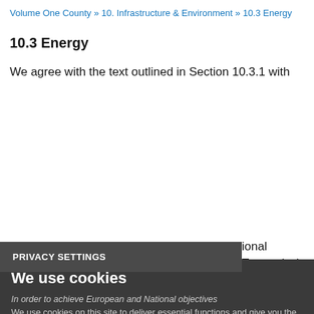Volume One County » 10. Infrastructure & Environment » 10.3 Energy
10.3 Energy
We agree with the text outlined in Section 10.3.1 with
ional Transmission/Distribution network.
PRIVACY SETTINGS
We use cookies
In order to achieve European and National objectives We use cookies on this site to deliver essential functions and give you the best experience using the website. Find out more information about using cookies in our Cookie Policy. new energy systems and transmission grids will be necessarily more distributed, renewables-focused energy generation system, harnessing both the considerable on-shore and off-shore potential from energy sources such as wind, wave and solar and
Necessary
Statistics
SAVE PREFERENCES
ACCEPT ALL COOKIES